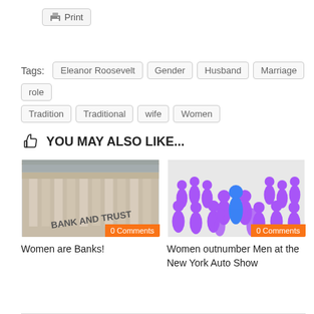Print
Tags: Eleanor Roosevelt, Gender, Husband, Marriage, role, Tradition, Traditional, wife, Women
YOU MAY ALSO LIKE...
[Figure (photo): Photo of a bank building facade with columns and text 'BANK AND TRUST', with orange badge '0 Comments']
Women are Banks!
[Figure (photo): 3D illustration of purple figure people surrounding one blue figure, representing outnumbering, with orange badge '0 Comments']
Women outnumber Men at the New York Auto Show